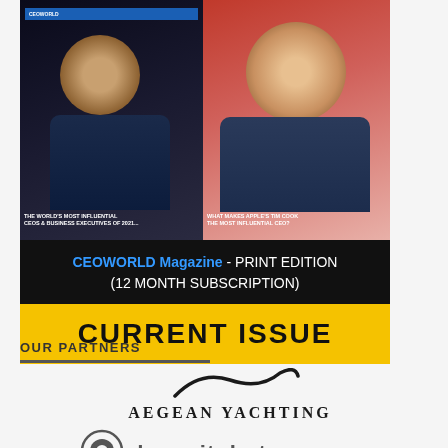[Figure (illustration): CEOWORLD Magazine print edition subscription promotional image showing two magazine covers side by side - one with a male figure on dark background with text 'THE WORLD'S MOST INFLUENTIAL CEOs & BUSINESS EXECUTIVES OF 2021', and another with a smiling man on pink/red background with text 'WHAT MAKES APPLE'S TIM COOK THE MOST INFLUENTIAL CEO?'. Below the images is the text 'CEOWORLD Magazine - PRINT EDITION (12 MONTH SUBSCRIPTION)' and a yellow banner reading 'CURRENT ISSUE']
OUR PARTNERS
[Figure (logo): Aegean Yachting logo - a wave/sail swoosh in black above the text 'AEGEAN YACHTING' in bold serif font]
[Figure (logo): Depositphotos logo - partially visible at the bottom, showing a circular icon and partial text 'depositphotos']